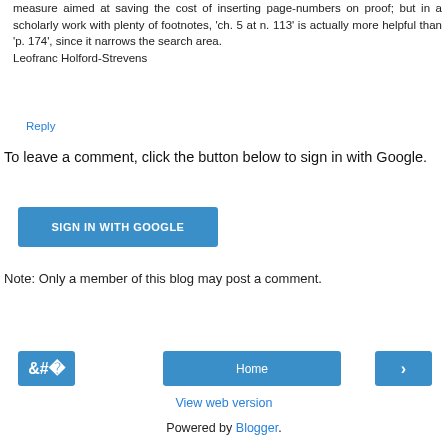measure aimed at saving the cost of inserting page-numbers on proof; but in a scholarly work with plenty of footnotes, 'ch. 5 at n. 113' is actually more helpful than 'p. 174', since it narrows the search area.
Leofranc Holford-Strevens
Reply
To leave a comment, click the button below to sign in with Google.
[Figure (other): SIGN IN WITH GOOGLE button (blue rounded rectangle)]
Note: Only a member of this blog may post a comment.
[Figure (other): Navigation buttons: left arrow, Home, right arrow]
View web version
Powered by Blogger.